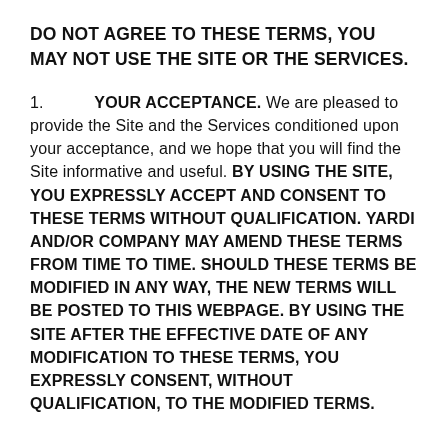DO NOT AGREE TO THESE TERMS, YOU MAY NOT USE THE SITE OR THE SERVICES.
1. YOUR ACCEPTANCE. We are pleased to provide the Site and the Services conditioned upon your acceptance, and we hope that you will find the Site informative and useful. BY USING THE SITE, YOU EXPRESSLY ACCEPT AND CONSENT TO THESE TERMS WITHOUT QUALIFICATION. YARDI AND/OR COMPANY MAY AMEND THESE TERMS FROM TIME TO TIME. SHOULD THESE TERMS BE MODIFIED IN ANY WAY, THE NEW TERMS WILL BE POSTED TO THIS WEBPAGE. BY USING THE SITE AFTER THE EFFECTIVE DATE OF ANY MODIFICATION TO THESE TERMS, YOU EXPRESSLY CONSENT, WITHOUT QUALIFICATION, TO THE MODIFIED TERMS.